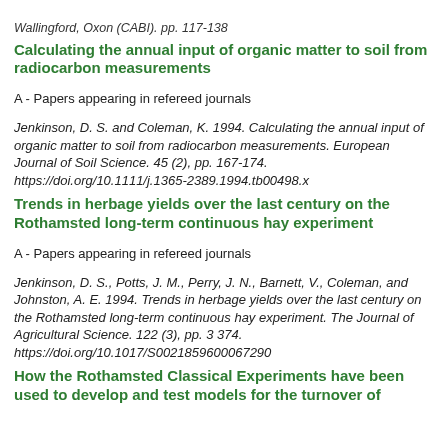Wallingford, Oxon (CABI). pp. 117-138
Calculating the annual input of organic matter to soil from radiocarbon measurements
A - Papers appearing in refereed journals
Jenkinson, D. S. and Coleman, K. 1994. Calculating the annual input of organic matter to soil from radiocarbon measurements. European Journal of Soil Science. 45 (2), pp. 167-174. https://doi.org/10.1111/j.1365-2389.1994.tb00498.x
Trends in herbage yields over the last century on the Rothamsted long-term continuous hay experiment
A - Papers appearing in refereed journals
Jenkinson, D. S., Potts, J. M., Perry, J. N., Barnett, V., Coleman, and Johnston, A. E. 1994. Trends in herbage yields over the last century on the Rothamsted long-term continuous hay experiment. The Journal of Agricultural Science. 122 (3), pp. 3 374. https://doi.org/10.1017/S0021859600067290
How the Rothamsted Classical Experiments have been used to develop and test models for the turnover of